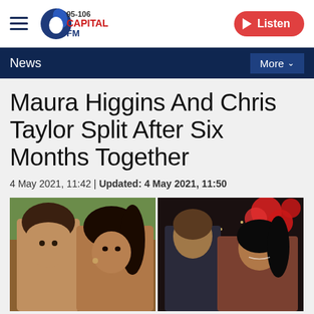Capital FM 95-106 | Listen
News | More
Maura Higgins And Chris Taylor Split After Six Months Together
4 May 2021, 11:42 | Updated: 4 May 2021, 11:50
[Figure (photo): Two photos side by side: left shows a couple (man and woman) taking a selfie outdoors; right shows a man and woman at a formal event with red balloons]